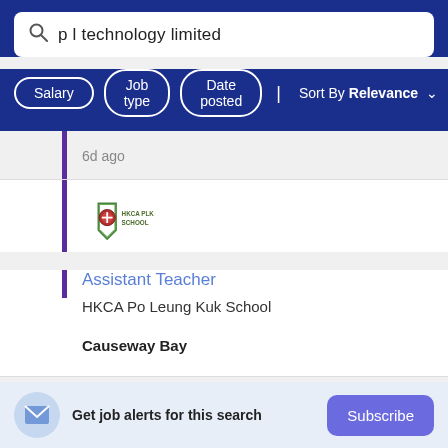p l technology limited
Salary | Job type | Date posted | Sort By Relevance
6d ago
[Figure (logo): HKCA Po Leung Kuk School shield logo with text]
Assistant Teacher
HKCA Po Leung Kuk School
Causeway Bay
Get job alerts for this search Subscribe